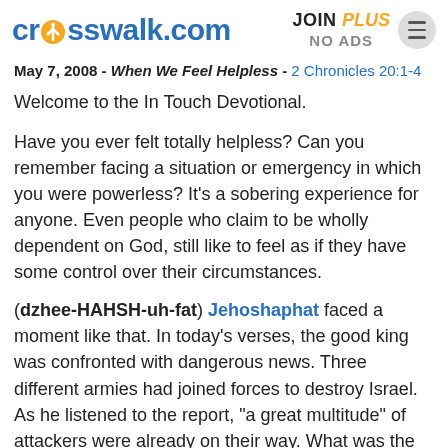crosswalk.com | JOIN PLUS NO ADS
May 7, 2008 - When We Feel Helpless - 2 Chronicles 20:1-4
Welcome to the In Touch Devotional.
Have you ever felt totally helpless? Can you remember facing a situation or emergency in which you were powerless? It's a sobering experience for anyone. Even people who claim to be wholly dependent on God, still like to feel as if they have some control over their circumstances.
(dzhee-HAHSH-uh-fat) Jehoshaphat faced a moment like that. In today’s verses, the good king was confronted with dangerous news. Three different armies had joined forces to destroy Israel. As he listened to the report, “a great multitude” of attackers were already on their way. What was the